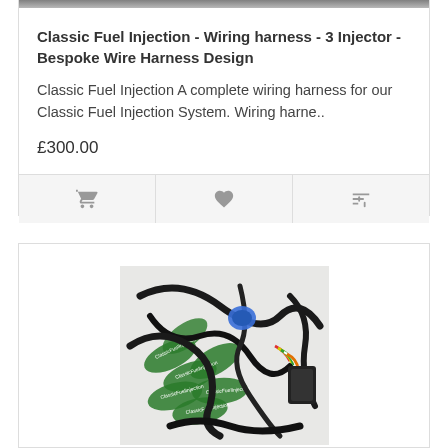[Figure (photo): Partially visible product photo at the top of the first card (cropped)]
Classic Fuel Injection - Wiring harness - 3 Injector - Bespoke Wire Harness Design
Classic Fuel Injection A complete wiring harness for our Classic Fuel Injection System. Wiring harne..
£300.00
[Figure (photo): Photo of a wiring harness (black cables, blue connector, multicolored wires) on a white surface with green branded oval stickers reading 'ClassicFuelInjection']